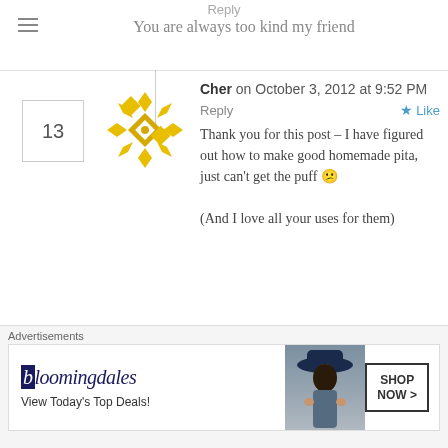Reply
You are always too kind my friend
13
Cher on October 3, 2012 at 9:52 PM
Reply
Like
Thank you for this post – I have figured out how to make good homemade pita, just can't get the puff 😕

(And I love all your uses for them)
14
Choc Chip Uru on October 3, 2012 at 10:42 PM
Reply
Like
Advertisements
[Figure (other): Bloomingdale's advertisement banner with logo, 'View Today's Top Deals!' tagline, woman in hat image, and 'SHOP NOW >' button]